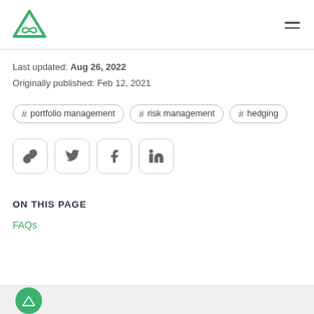Alpha Logo | Navigation
Last updated: Aug 26, 2022
Originally published: Feb 12, 2021
# portfolio management
# risk management
# hedging
[Figure (other): Social share buttons: link, Twitter, Facebook, LinkedIn]
ON THIS PAGE
FAQs